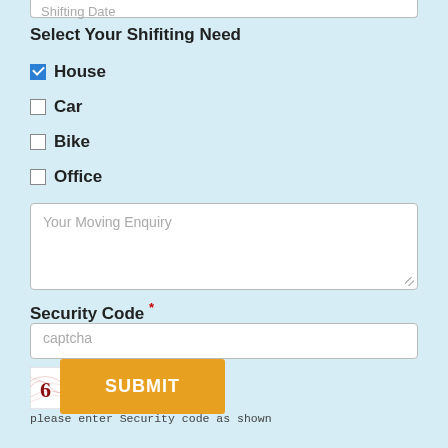Shifting Date
Select Your Shifiting Need
House (checked)
Car
Bike
Office
Your Moving Enquiry
Security Code *
captcha
[Figure (other): CAPTCHA image showing digits 6 5 1 2 with decorative pink/red wavy lines on white background]
please enter Security code as shown
SUBMIT